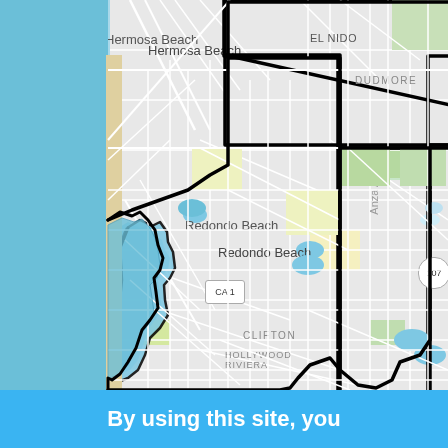[Figure (map): Street map showing Redondo Beach and surrounding areas including Hermosa Beach, El Nido, Dudmore, Clifton, Hollywood Riviera neighborhoods. A bold black polygon outlines a city or district boundary. Blue water (Pacific Ocean) visible on the left. Route markers for CA 1 and 107 visible. Anza Avenue labeled. The boundary region is highlighted with a blue overlay near the coastline (Redondo Beach pier area).]
By using this site, you